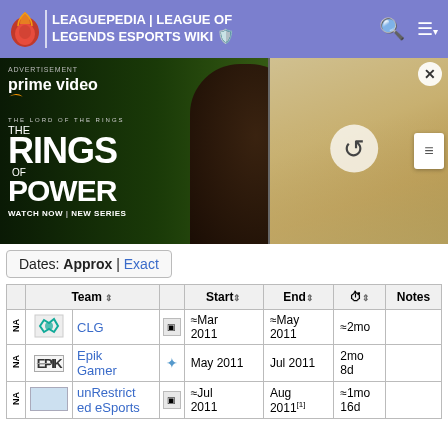LEAGUEPEDIA | LEAGUE OF LEGENDS ESPORTS WIKI
[Figure (photo): Amazon Prime Video advertisement for The Lord of the Rings: The Rings of Power. Shows two characters in a field landscape with text: ADVERTISEMENT, prime video, THE LORD OF THE RINGS, THE RINGS OF POWER, WATCH NOW | NEW SERIES. Second panel shows a group of robed figures with a refresh circle overlay.]
Dates: Approx | Exact
|  | Team |  | Start | End | ⏱ | Notes |
| --- | --- | --- | --- | --- | --- | --- |
| NA | CLG | ≈ | ≈Mar 2011 | ≈May 2011 | ≈2mo |  |
| NA | Epik Gamer | ✦ | May 2011 | Jul 2011 | 2mo 8d |  |
| NA | unRestricted eSports | ≈ | ≈Jul 2011 | Aug 2011[1] | ≈1mo 16d |  |